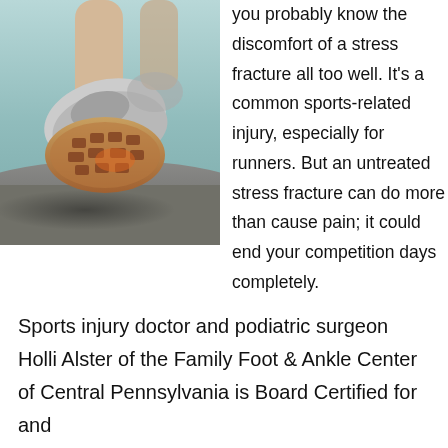[Figure (photo): Close-up photo of a runner's shoe from below, mid-stride on pavement, showing the sole of a running shoe with the road surface in background.]
you probably know the discomfort of a stress fracture all too well. It's a common sports-related injury, especially for runners. But an untreated stress fracture can do more than cause pain; it could end your competition days completely.
Sports injury doctor and podiatric surgeon Holli Alster of the Family Foot & Ankle Center of Central Pennsylvania is Board Certified for and